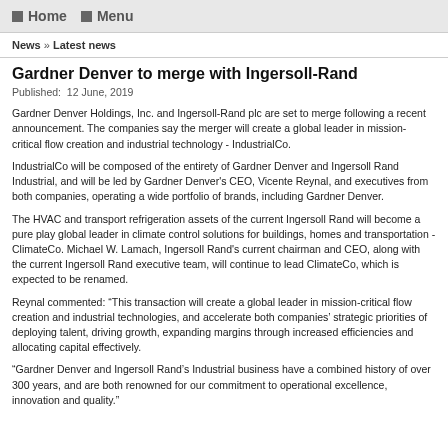Home   Menu
News » Latest news
Gardner Denver to merge with Ingersoll-Rand
Published:  12 June, 2019
Gardner Denver Holdings, Inc. and Ingersoll-Rand plc are set to merge following a recent announcement. The companies say the merger will create a global leader in mission-critical flow creation and industrial technology - IndustrialCo.
IndustrialCo will be composed of the entirety of Gardner Denver and Ingersoll Rand Industrial, and will be led by Gardner Denver's CEO, Vicente Reynal, and executives from both companies, operating a wide portfolio of brands, including Gardner Denver.
The HVAC and transport refrigeration assets of the current Ingersoll Rand will become a pure play global leader in climate control solutions for buildings, homes and transportation - ClimateCo. Michael W. Lamach, Ingersoll Rand's current chairman and CEO, along with the current Ingersoll Rand executive team, will continue to lead ClimateCo, which is expected to be renamed.
Reynal commented: “This transaction will create a global leader in mission-critical flow creation and industrial technologies, and accelerate both companies’ strategic priorities of deploying talent, driving growth, expanding margins through increased efficiencies and allocating capital effectively.
“Gardner Denver and Ingersoll Rand’s Industrial business have a combined history of over 300 years, and are both renowned for our commitment to operational excellence, innovation and quality.”